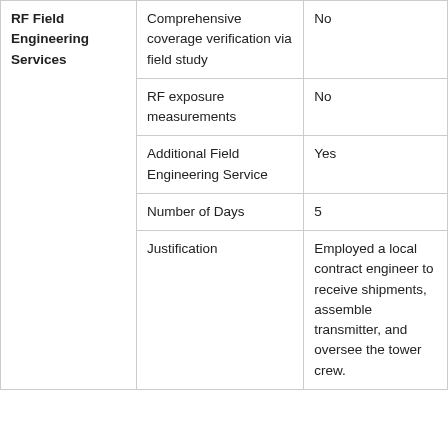| RF Field Engineering Services | Comprehensive coverage verification via field study | No |
|  | RF exposure measurements | No |
|  | Additional Field Engineering Service | Yes |
|  | Number of Days | 5 |
|  | Justification | Employed a local contract engineer to receive shipments, assemble transmitter, and oversee the tower crew. |